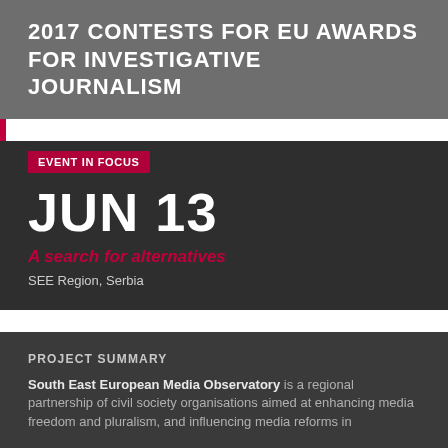2017 CONTESTS FOR EU AWARDS FOR INVESTIGATIVE JOURNALISM
EVENT IN FOCUS
JUN 13
A search for alternatives
SEE Region, Serbia
PROJECT SUMMARY
South East European Media Observatory is a regional partnership of civil society organisations aimed at enhancing media freedom and pluralism, and influencing media reforms in